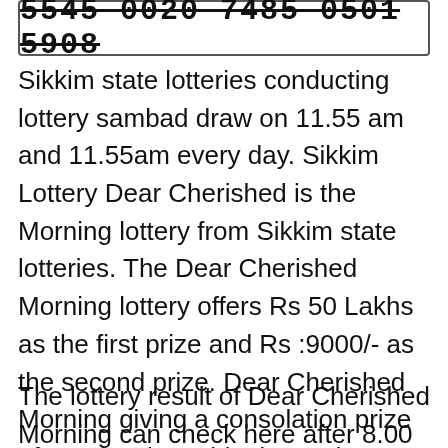[Figure (other): A bordered box containing a lottery ticket number with strikethrough: 5545 0020 7485 0501 5908]
Sikkim state lotteries conducting lottery sambad draw on 11.55 am and 11.55am every day. Sikkim Lottery Dear Cherished is the Morning lottery from Sikkim state lotteries. The Dear Cherished Morning lottery offers Rs 50 Lakhs as the first prize and Rs :9000/- as the second prize. Dear Cherished Morning giving a consolation prize of Rs 1000/- on this draw. The Sikkim lottery also offering a good prize structure upto 5th prize of this sambad lottery.
The lottery result of Dear Cherished Morning can check here after 8.00 pm